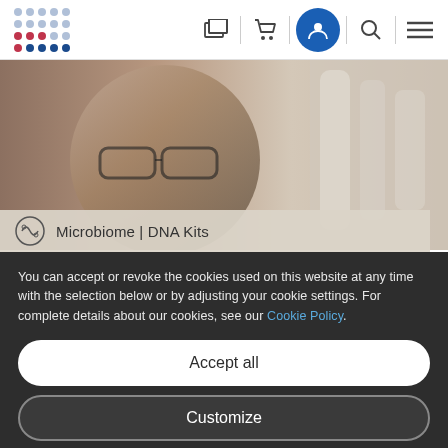[Figure (screenshot): QIAGEN website navigation bar with logo, cart icons, user icon, search, and hamburger menu]
[Figure (photo): Hero image of a scientist wearing glasses in a laboratory setting]
Microbiome | DNA Kits
You can accept or revoke the cookies used on this website at any time with the selection below or by adjusting your cookie settings. For complete details about our cookies, see our Cookie Policy.
Accept all
Customize
Only necessary